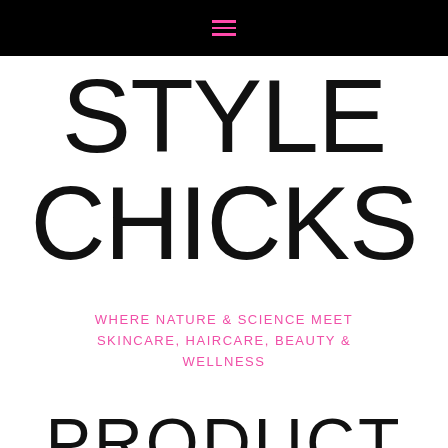☰ (hamburger menu icon)
STYLE CHICKS
WHERE NATURE & SCIENCE MEET SKINCARE, HAIRCARE, BEAUTY & WELLNESS
PRODUCT